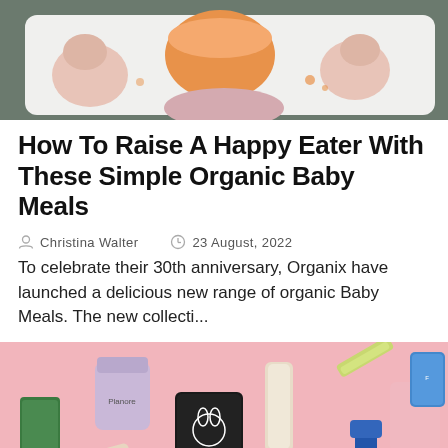[Figure (photo): Baby sitting in a high chair with an orange bowl of food on a white tray]
How To Raise A Happy Eater With These Simple Organic Baby Meals
Christina Walter   23 August, 2022
To celebrate their 30th anniversary, Organix have launched a delicious new range of organic Baby Meals. The new collecti...
[Figure (photo): Collection of skincare and beauty products laid out on a pink background, including Planore cream, Burt's Bees, Pear Out skin serum, and other products]